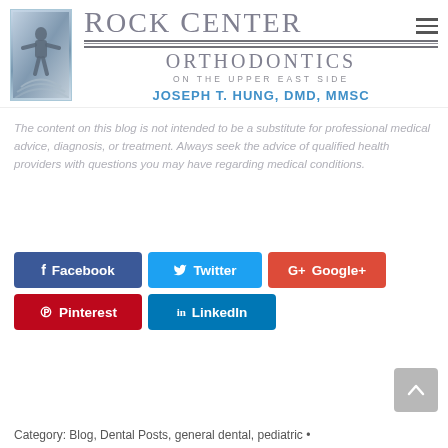[Figure (logo): Rock Center Orthodontics logo with stylized figure and decorated text]
The content on this blog is not intended to be a substitute for professional medical advice, diagnosis, or treatment. Always seek the advice of qualified health providers with questions you may have regarding medical conditions.
Facebook   Twitter   Google+   Pinterest   LinkedIn (social share buttons)
Category: Blog, Dental Posts, general dental, pediatric •